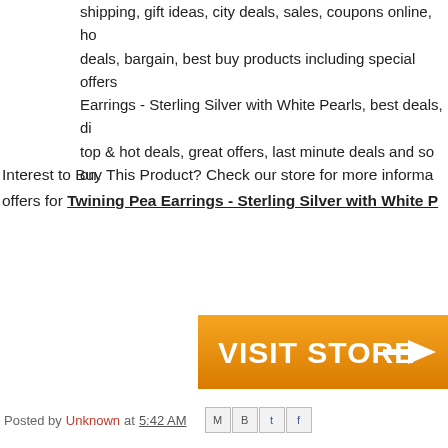shipping, gift ideas, city deals, sales, coupons online, hot deals, bargain, best buy products including special offers for Earrings - Sterling Silver with White Pearls, best deals, di top & hot deals, great offers, last minute deals and so on.
Interest to Buy This Product? Check our store for more informa offers for Twining Pea Earrings - Sterling Silver with White P
[Figure (other): Orange VISIT STORE button with right arrow]
Posted by Unknown at 5:42 AM
1 comment:
Blogger January 17, 2017 at 1:40 PM
Buy A 14k Gold Chain Online.
Reply
To leave a comment, click the button below to sign in with
SIGN IN WITH GOOGLE